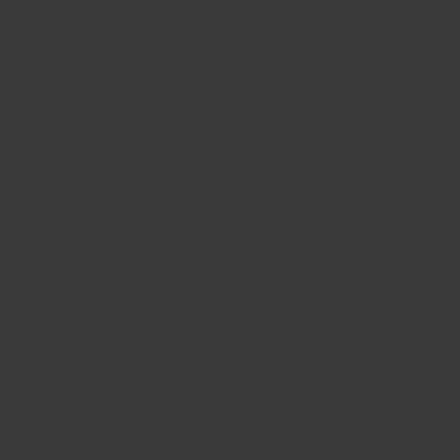“ the World” FireworksViewing(